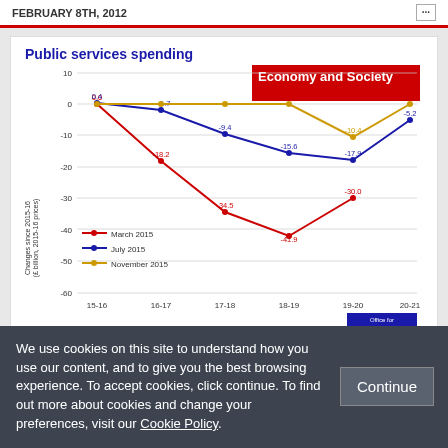FEBRUARY 8TH, 2012
[Figure (line-chart): Public services spending]
Autumn Statement 2015: U-turn on tax credits saves the short term argument, but serious long term questions remain
We use cookies on this site to understand how you use our content, and to give you the best browsing experience. To accept cookies, click continue. To find out more about cookies and change your preferences, visit our Cookie Policy.